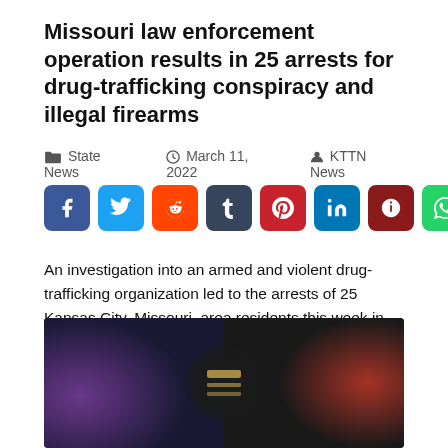Missouri law enforcement operation results in 25 arrests for drug-trafficking conspiracy and illegal firearms
State News   March 11, 2022   KTTN News
[Figure (infographic): Social media share buttons: Facebook (blue), Twitter (light blue), Reddit (orange-red), Tumblr (dark slate), Pinterest (red), LinkedIn (dark blue), Parler (dark red), WhatsApp (green)]
An investigation into an armed and violent drug-trafficking organization led to the arrests of 25 Kansas City, Missouri, area residents this week in an operation that involved more than 200 law enforcement officers from multiple local and federal agencies. “This operation removed a large number of armed and dangerous drug dealers from the streets of […]
[Figure (photo): Photo of what appears to be a police badge or law enforcement equipment with blue and purple blurred lights in the background]